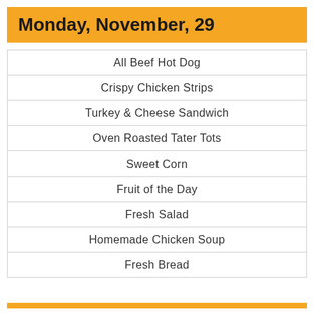Monday, November, 29
All Beef Hot Dog
Crispy Chicken Strips
Turkey & Cheese Sandwich
Oven Roasted Tater Tots
Sweet Corn
Fruit of the Day
Fresh Salad
Homemade Chicken Soup
Fresh Bread